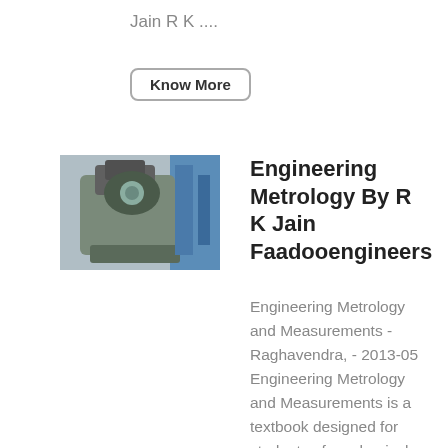Jain R K ....
Know More
[Figure (photo): Photo of an industrial machine or equipment, appearing gray-green in color, located outdoors with blue structures in background.]
Engineering Metrology By R K Jain Faadooengineers
Engineering Metrology and Measurements - Raghavendra, - 2013-05 Engineering Metrology and Measurements is a textbook designed for students of mechanical, production and allied disciplines to facilitate learning of various shop-floor measurement techniques and also understand the basics of mechanical measurements Engineering Metrology - Jain R ....